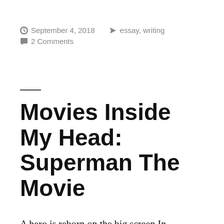September 4, 2018  essay, writing  2 Comments
Movies Inside My Head: Superman The Movie
A hero is reborn on the big screen In